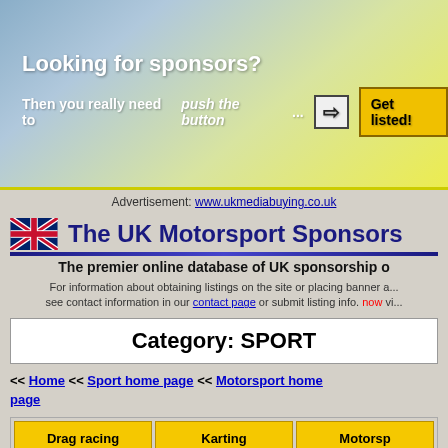[Figure (infographic): Banner advertisement with gradient blue-yellow background. Text: 'Looking for sponsors? Then you really need to push the button ... [arrow] Get listed!']
Advertisement: www.ukmediabuying.co.uk
The UK Motorsport Sponsors
The premier online database of UK sponsorship o...
For information about obtaining listings on the site or placing banner a... see contact information in our contact page or submit listing info. now vi...
Category: SPORT
<< Home << Sport home page << Motorsport home page
| Drag racing | Karting | Motorsp... |
| Motor shows | Motorcycling | Powerboat |
| Stock car | Truck | Other moto... |